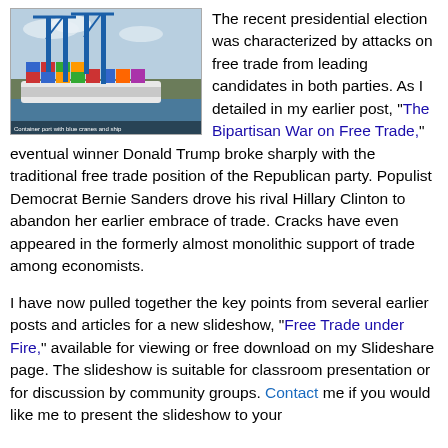[Figure (photo): A harbor/port scene with large blue cranes and a container ship loaded with colorful shipping containers.]
The recent presidential election was characterized by attacks on free trade from leading candidates in both parties. As I detailed in my earlier post, "The Bipartisan War on Free Trade," eventual winner Donald Trump broke sharply with the traditional free trade position of the Republican party. Populist Democrat Bernie Sanders drove his rival Hillary Clinton to abandon her earlier embrace of trade. Cracks have even appeared in the formerly almost monolithic support of trade among economists.
I have now pulled together the key points from several earlier posts and articles for a new slideshow, "Free Trade under Fire," available for viewing or free download on my Slideshare page. The slideshow is suitable for classroom presentation or for discussion by community groups. Contact me if you would like me to present the slideshow to your